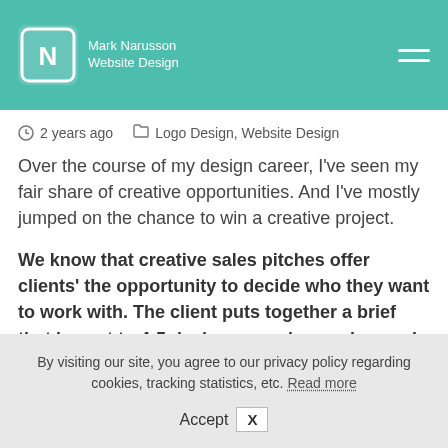Mark Narusson Website Design
2 years ago   Logo Design, Website Design
Over the course of my design career, I've seen my fair share of creative opportunities. And I've mostly jumped on the chance to win a creative project.
We know that creative sales pitches offer clients' the opportunity to decide who they want to work with. The client puts together a brief that is sent to 4-5 designers and agencies, and they then go away and spend
By visiting our site, you agree to our privacy policy regarding cookies, tracking statistics, etc. Read more
Accept  X